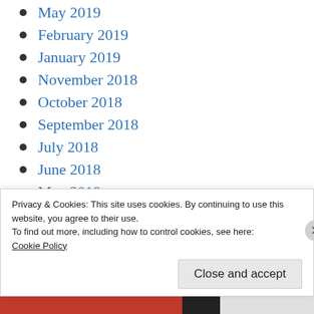May 2019
February 2019
January 2019
November 2018
October 2018
September 2018
July 2018
June 2018
May 2018
April 2018
Privacy & Cookies: This site uses cookies. By continuing to use this website, you agree to their use.
To find out more, including how to control cookies, see here:
Cookie Policy
Close and accept